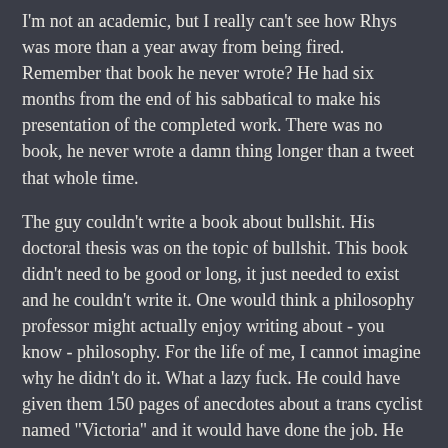I'm not an academic, but I really can't see how Rhys was more than a year away from being fired. Remember that book he never wrote? He had six months from the end of his sabbatical to make his presentation of the completed work. There was no book, he never wrote a damn thing longer than a tweet that whole time.
The guy couldn't write a book about bullshit. His doctoral thesis was on the topic of bullshit. This book didn't need to be good or long, it just needed to exist and he couldn't write it. One would think a philosophy professor might actually enjoy writing about - you know - philosophy. For the life of me, I cannot imagine why he didn't do it. What a lazy fuck. He could have given them 150 pages of anecdotes about a trans cyclist named "Victoria" and it would have done the job. He could have churned it out in a month and still spend most of that time fucking off.